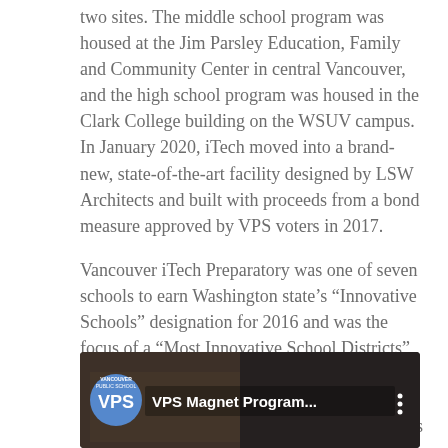two sites. The middle school program was housed at the Jim Parsley Education, Family and Community Center in central Vancouver, and the high school program was housed in the Clark College building on the WSUV campus. In January 2020, iTech moved into a brand-new, state-of-the-art facility designed by LSW Architects and built with proceeds from a bond measure approved by VPS voters in 2017.
Vancouver iTech Preparatory was one of seven schools to earn Washington state's “Innovative Schools” designation for 2016 and was the focus of a “Most Innovative School Districts” case study by the American Association of School Administrators in 2018. The school currently serves around 400 students with plans to grow to 670 over the next few years. ITech’s four-year (on-time) graduation rate is 100%.
[Figure (screenshot): Video thumbnail for 'VPS Magnet Program...' with Vancouver Public Schools logo on the left and three vertical dots menu icon on the right, dark background showing people.]